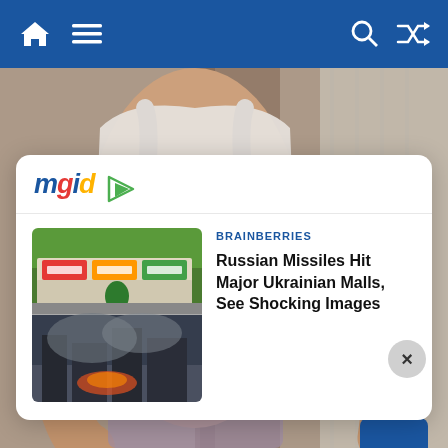Navigation bar with home, menu, search, and shuffle icons
[Figure (photo): Background photo of a person in a white crop top with hands on hips, outdoors near a tree and white siding]
[Figure (screenshot): MGID advertisement overlay card with close button, showing a Brainberries article: 'Russian Missiles Hit Major Ukrainian Malls, See Shocking Images' with a thumbnail of a shopping mall and smoke/fire below it]